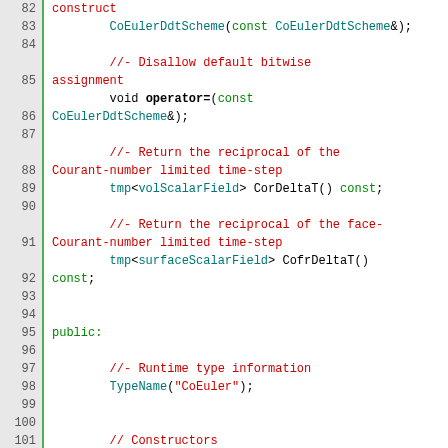[Figure (screenshot): Source code listing in C++ showing CoEulerDdtScheme class definition, lines 82-108, with syntax highlighting: line numbers on left gray panel, code on white background. Keywords in black/bold, comments in red, types/identifiers in green or blue.]